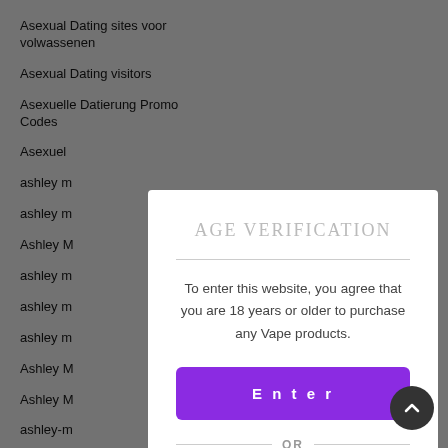Asexual Dating sites voor volwassenen
Asexual Dating visitors
Asexuelle Datierung Promo Codes
Asexuel
ashley m
ashley m
Ashley M
ashley m
ashley m
ashley m
Ashley M
Ashley M
ashley-m
AGE VERIFICATION
To enter this website, you agree that you are 18 years or older to purchase any Vape products.
Enter
OR
Exit